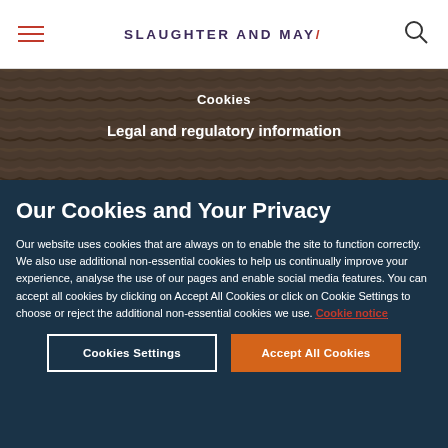Slaughter and May/
Cookies
Legal and regulatory information
Our Cookies and Your Privacy
Our website uses cookies that are always on to enable the site to function correctly. We also use additional non-essential cookies to help us continually improve your experience, analyse the use of our pages and enable social media features. You can accept all cookies by clicking on Accept All Cookies or click on Cookie Settings to choose or reject the additional non-essential cookies we use. Cookie notice
Cookies Settings
Accept All Cookies